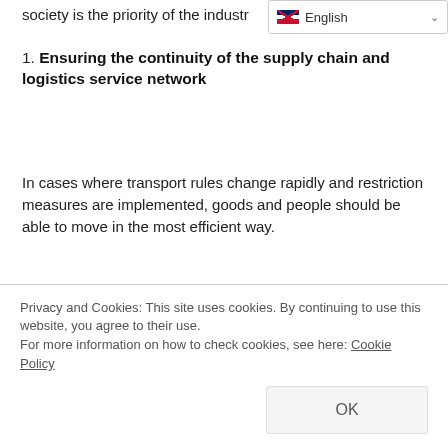society is the priority of the industry
1. Ensuring the continuity of the supply chain and logistics service network
In cases where transport rules change rapidly and restriction measures are implemented, goods and people should be able to move in the most efficient way.
1. Ensuring the continuity of road transport companies
Generally, small and medium sized enterprises experience financial difficulties and need financial support to overcome these difficulties.
Privacy and Cookies: This site uses cookies. By continuing to use this website, you agree to their use.
For more information on how to check cookies, see here: Cookie Policy